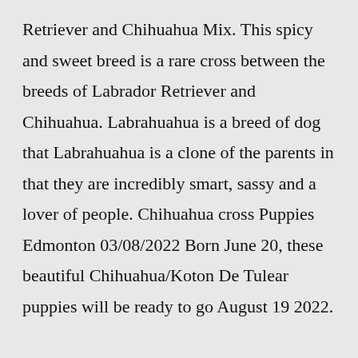Retriever and Chihuahua Mix. This spicy and sweet breed is a rare cross between the breeds of Labrador Retriever and Chihuahua. Labrahuahua is a breed of dog that Labrahuahua is a clone of the parents in that they are incredibly smart, sassy and a lover of people. Chihuahua cross Puppies Edmonton 03/08/2022 Born June 20, these beautiful Chihuahua/Koton De Tulear puppies will be ready to go August 19 2022.